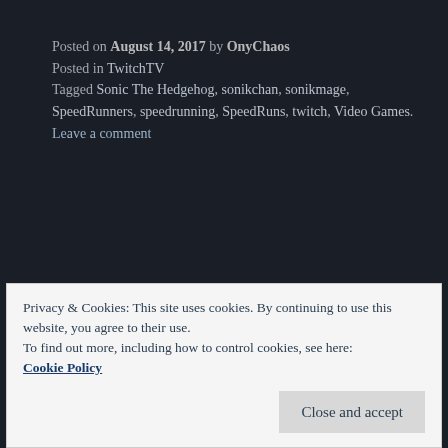Posted on August 14, 2017 by OnyChaos
Posted in TwitchTV
Tagged Sonic The Hedgehog, sonikchan, sonikmage, SpeedRunners, speedrunning, SpeedRuns, twitch, Video Games.
Leave a comment
Thoughts on speedrunners
My thoughts on speedrunners. Opening a can of
Privacy & Cookies: This site uses cookies. By continuing to use this website, you agree to their use.
To find out more, including how to control cookies, see here: Cookie Policy
Close and accept